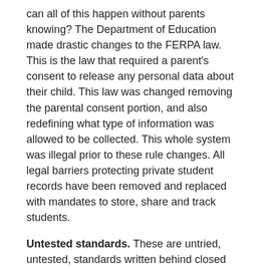can all of this happen without parents knowing?  The Department of Education made drastic changes to the FERPA law.  This is the law that required a parent's consent to release any personal data about their child.  This law was changed removing the parental consent portion, and also redefining what type of information was allowed to be collected.  This whole system was illegal prior to these rule changes.  All legal barriers protecting private student records have been removed and replaced with mandates to store, share and track students.
Untested standards.  These are untried, untested, standards written behind closed doors by authors who openly speak about how they intend to use these standards to “dramatically shift” education.  Idaho does not own these standards we cannot not alter or amend these standards.  These standards are the only standards developed that met the specific federal requirements and timeline agreed to when Idaho's governor accepted the educational reform package attached to stimulus funds in 2009.  Idaho's colleges signed an agreement stating anyone graduating with a Common Core diploma would be ready to enter college without remediation, however, we have been informed that...